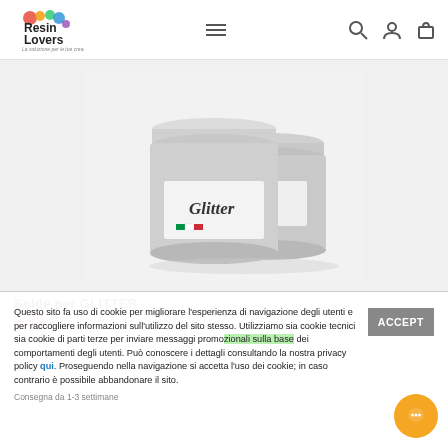Resin Lovers - La soluzione per le tue creazioni
[Figure (photo): Two silver glitter jars with 'Glitter' label and Resin Lovers branding on white/light gray background]
Questo sito fa uso di cookie per migliorare l'esperienza di navigazione degli utenti e per raccogliere informazioni sull'utilizzo del sito stesso. Utilizziamo sia cookie tecnici sia cookie di parti terze per inviare messaggi promozionali sulla base dei comportamenti degli utenti. Può conoscere i dettagli consultando la nostra privacy policy qui. Proseguendo nella navigazione si accetta l'uso dei cookie; in caso contrario è possibile abbandonare il sito.